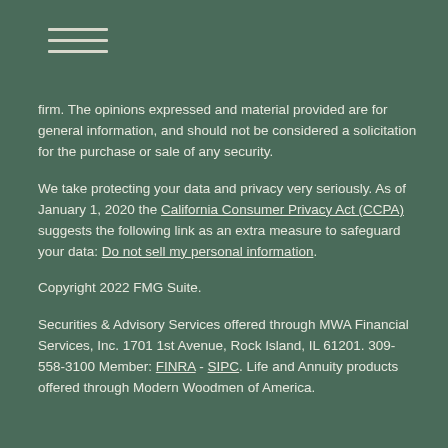≡ (hamburger menu icon)
firm. The opinions expressed and material provided are for general information, and should not be considered a solicitation for the purchase or sale of any security.
We take protecting your data and privacy very seriously. As of January 1, 2020 the California Consumer Privacy Act (CCPA) suggests the following link as an extra measure to safeguard your data: Do not sell my personal information.
Copyright 2022 FMG Suite.
Securities & Advisory Services offered through MWA Financial Services, Inc. 1701 1st Avenue, Rock Island, IL 61201. 309-558-3100 Member: FINRA - SIPC. Life and Annuity products offered through Modern Woodmen of America.